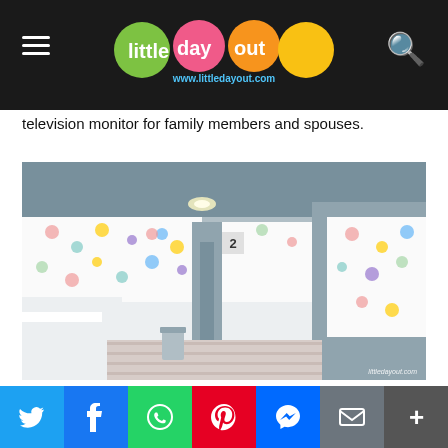Little Day Out — www.littledayout.com
television monitor for family members and spouses.
[Figure (photo): Interior of a breastfeeding room area with hot air balloon patterned wallpaper, grey partition walls with door numbered '2', wooden floor, and a white counter/sink on the left.]
The breastfeeding area consists of a sink and five lockable breastfeeding rooms, where each room is equipped with a [share bar] chair for nursing